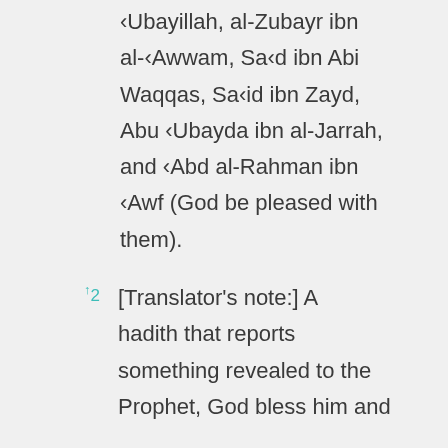'Ubaydillah, al-Zubayr ibn al-'Awwam, Sa'd ibn Abi Waqqas, Sa'id ibn Zayd, Abu 'Ubayda ibn al-Jarrah, and 'Abd al-Rahman ibn 'Awf (God be pleased with them).
↑2  [Translator's note:] A hadith that reports something revealed to the Prophet, God bless him and